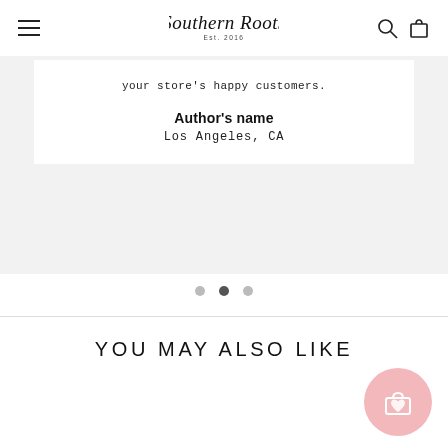Southern Roots Est. 2016
your store's happy customers.
Author's name
Los Angeles, CA
[Figure (other): Carousel navigation dots, 3 dots with middle one active/filled]
YOU MAY ALSO LIKE
[Figure (other): Pink circular shopping bag button with heart icon in bottom right corner]